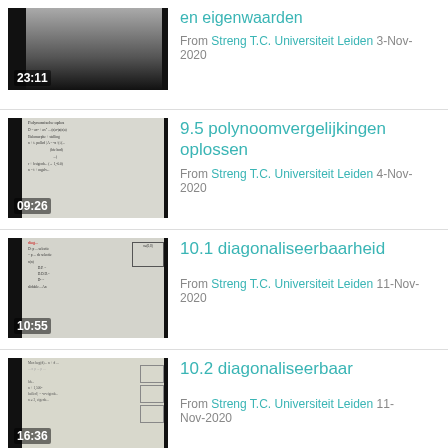[Figure (screenshot): Video thumbnail showing gradient dark background, duration 23:11]
en eigenwaarden
From Streng T.C. Universiteit Leiden 3-Nov-2020
[Figure (screenshot): Video thumbnail showing handwritten math notes on whiteboard, duration 09:26]
9.5 polynoomvergelijkingen oplossen
From Streng T.C. Universiteit Leiden 4-Nov-2020
[Figure (screenshot): Video thumbnail showing handwritten matrix/diagonalization notes, duration 10:55]
10.1 diagonaliseerbaarheid
From Streng T.C. Universiteit Leiden 11-Nov-2020
[Figure (screenshot): Video thumbnail showing handwritten math notes with matrices, duration 16:36]
10.2 diagonaliseerbaar
From Streng T.C. Universiteit Leiden 11-Nov-2020